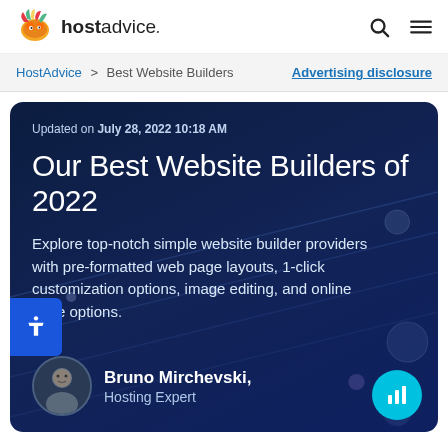hostadvice.
HostAdvice > Best Website Builders  Advertising disclosure
Updated on July 28, 2022 10:18 AM
Our Best Website Builders of 2022
Explore top-notch simple website builder providers with pre-formatted web page layouts, 1-click customization options, image editing, and online store options.
Bruno Mirchevski, Hosting Expert